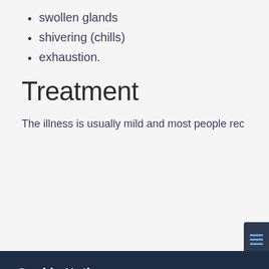swollen glands
shivering (chills)
exhaustion.
Treatment
The illness is usually mild and most people recover in two t
[Figure (screenshot): Cookie notice modal dialog with dark navy background overlaying the medical web page. Contains title 'Cookie Notice', close button (×), explanatory text about cookie usage with a 'Cookies policy' link, an 'Accept Cookies' button in yellow/gold, and a 'Cookies Settings' text link.]